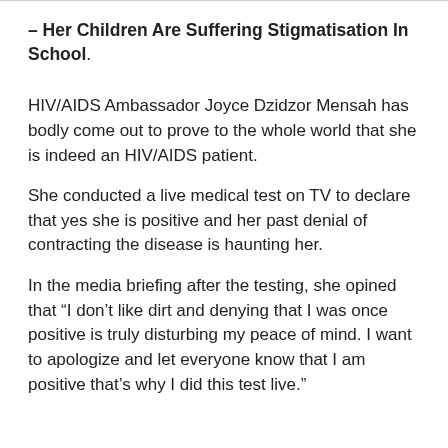– Her Children Are Suffering Stigmatisation In School.
HIV/AIDS Ambassador Joyce Dzidzor Mensah has bodly come out to prove to the whole world that she is indeed an HIV/AIDS patient.
She conducted a live medical test on TV to declare that yes she is positive and her past denial of contracting the disease is haunting her.
In the media briefing after the testing, she opined that “I don’t like dirt and denying that I was once positive is truly disturbing my peace of mind. I want to apologize and let everyone know that I am positive that’s why I did this test live.”